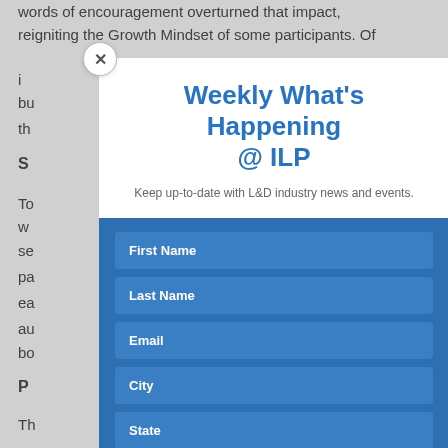words of encouragement overturned that impact, reigniting the Growth Mindset of some participants. Of
is
bu
th
Si
To
w
a
se
pa
ea
au
bo
P
Th
Weekly What's Happening @ ILP
Keep up-to-date with L&D industry news and events.
First Name
Last Name
Email
City
State